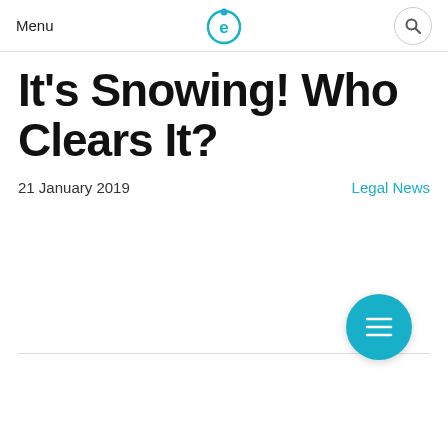Menu
It's Snowing! Who Clears It?
21 January 2019
Legal News